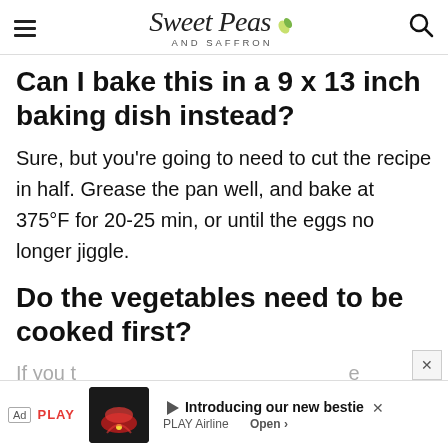Sweet Peas AND SAFFRON
Can I bake this in a 9 x 13 inch baking dish instead?
Sure, but you're going to need to cut the recipe in half. Grease the pan well, and bake at 375°F for 20-25 min, or until the eggs no longer jiggle.
Do the vegetables need to be cooked first?
If you t...e added...